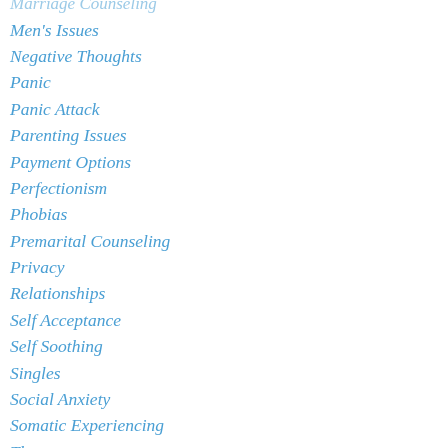Marriage Counseling
Men's Issues
Negative Thoughts
Panic
Panic Attack
Parenting Issues
Payment Options
Perfectionism
Phobias
Premarital Counseling
Privacy
Relationships
Self Acceptance
Self Soothing
Singles
Social Anxiety
Somatic Experiencing
Therapy
Trauma
Victim Mentality
Worry